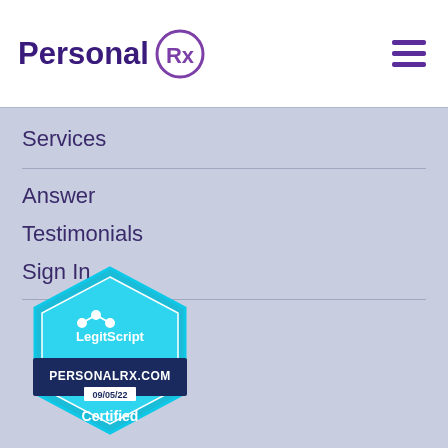Personal Rx
Services
Answer
Testimonials
Sign In
[Figure (logo): LegitScript Certified badge for PERSONALRX.COM, dated 09/05/22]